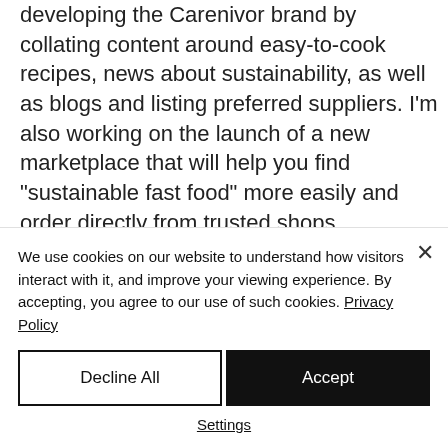developing the Carenivor brand by collating content around easy-to-cook recipes, news about sustainability, as well as blogs and listing preferred suppliers. I'm also working on the launch of a new marketplace that will help you find "sustainable fast food" more easily and order directly from trusted shops.
We use cookies on our website to understand how visitors interact with it, and improve your viewing experience. By accepting, you agree to our use of such cookies. Privacy Policy
Decline All
Accept
Settings